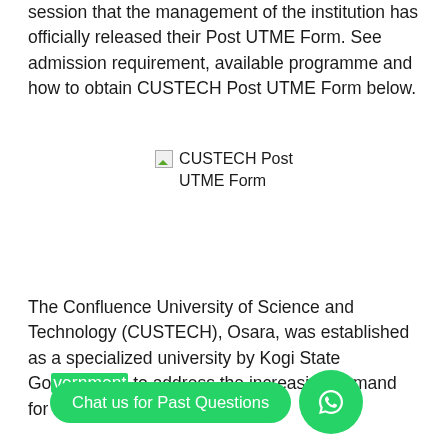session that the management of the institution has officially released their Post UTME Form. See admission requirement, available programme and how to obtain CUSTECH Post UTME Form below.
[Figure (photo): Broken image placeholder labeled 'CUSTECH Post UTME Form']
The Confluence University of Science and Technology (CUSTECH), Osara, was established as a specialized university by Kogi State Go[vernment] to address the increasing demand for higher education